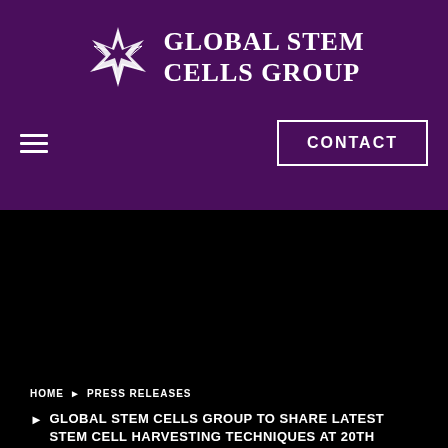[Figure (logo): Global Stem Cells Group logo with star-shaped icon and text in white on purple background]
≡
CONTACT
HOME ▶ PRESS RELEASES
▶ GLOBAL STEM CELLS GROUP TO SHARE LATEST STEM CELL HARVESTING TECHNIQUES AT 20TH WORLD CONGRESS OF AESTHETIC MEDICINE IN MIAMI